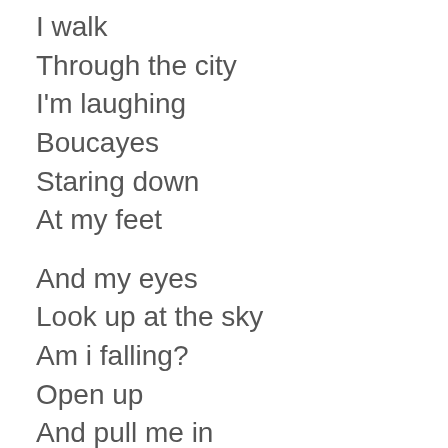I walk
Through the city
I'm laughing
Boucayes
Staring down
At my feet
And my eyes
Look up at the sky
Am i falling?
Open up
And pull me in
I feel like an angel
Who's fallen